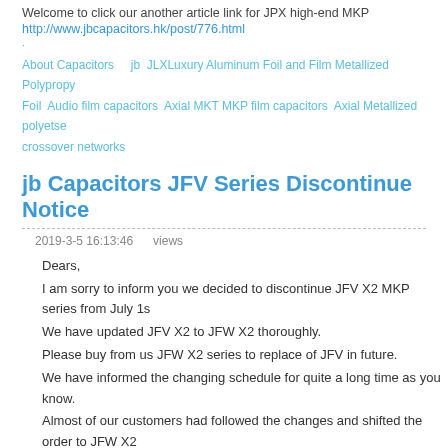Welcome to click our another article link for JPX high-end MKP
http://www.jbcapacitors.hk/post/776.html
·
About Capacitors    jb  JLXLuxury Aluminum Foil and Film Metallized Polypropy Foil  Audio film capacitors  Axial MKT MKP film capacitors  Axial Metallized polyetse crossover networks
jb Capacitors JFV Series Discontinue Notice
2019-3-5 16:13:46    views
Dears,
I am sorry to inform you we decided to discontinue JFV X2 MKP series from July 1s We have updated JFV X2 to JFW X2 thoroughly. Please buy from us JFW X2 series to replace of JFV in future. We have informed the changing schedule for quite a long time as you know. Almost of our customers had followed the changes and shifted the order to JFW X2 We do appreciate the great support very much! Now in order to simplify our production lines and improve the working efficiency, w deadline for JFV series.
Below you will find our clarification between JFV and JFW Here please find differen